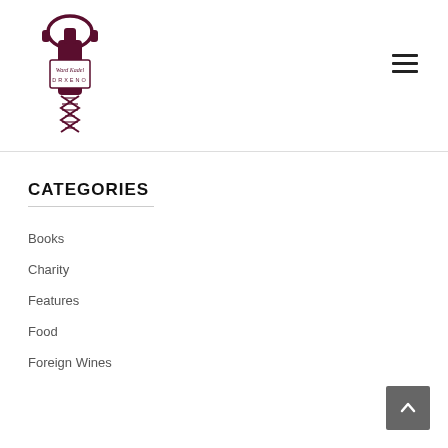[Figure (logo): Ward Kadel DRXENO logo — wine bottle with headphones and DNA helix, with cursive and uppercase text label]
[Figure (other): Hamburger menu icon (three horizontal lines)]
CATEGORIES
Books
Charity
Features
Food
Foreign Wines